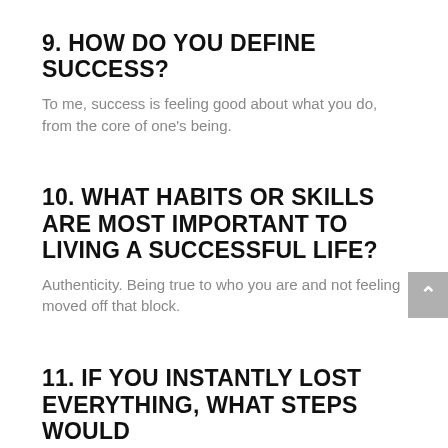9. HOW DO YOU DEFINE SUCCESS?
To me, success is feeling good about what you do, from the core of one's being.
10. WHAT HABITS OR SKILLS ARE MOST IMPORTANT TO LIVING A SUCCESSFUL LIFE?
Authenticity. Being true to who you are and not feeling moved off that block.
11. IF YOU INSTANTLY LOST EVERYTHING, WHAT STEPS WOULD